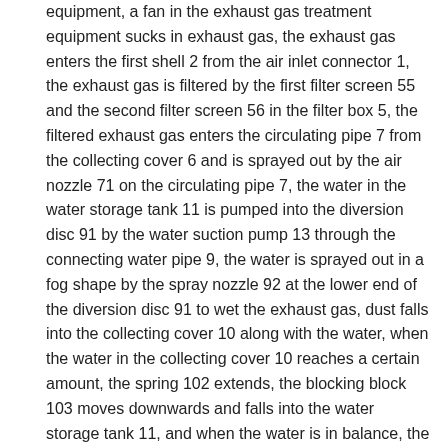equipment, a fan in the exhaust gas treatment equipment sucks in exhaust gas, the exhaust gas enters the first shell 2 from the air inlet connector 1, the exhaust gas is filtered by the first filter screen 55 and the second filter screen 56 in the filter box 5, the filtered exhaust gas enters the circulating pipe 7 from the collecting cover 6 and is sprayed out by the air nozzle 71 on the circulating pipe 7, the water in the water storage tank 11 is pumped into the diversion disc 91 by the water suction pump 13 through the connecting water pipe 9, the water is sprayed out in a fog shape by the spray nozzle 92 at the lower end of the diversion disc 91 to wet the exhaust gas, dust falls into the collecting cover 10 along with the water, when the water in the collecting cover 10 reaches a certain amount, the spring 102 extends, the blocking block 103 moves downwards and falls into the water storage tank 11, and when the water is in balance, the spring 102 pulls up the blocking, seal the lower extreme of mass flow cover 10, the filter core 112 of storage water tank 11 inside filters out the dust of aquatic, suction pump 13 takes water out and continues the use, when clearing up dust collector, will admit air connector 1 and dismantle, unscrew first shell 2 to and unpack filter box 5 apart, pour out the dust in first